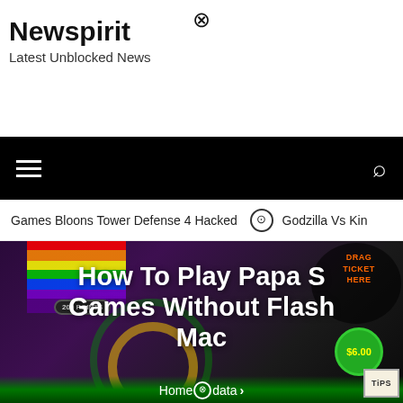⊗
Newspirit
Latest Unblocked News
[Figure (screenshot): Black navigation bar with hamburger menu icon on the left and search icon on the right]
Games Bloons Tower Defense 4 Hacked  ⊙  Godzilla Vs Kin
[Figure (screenshot): Hero image of a cooking game (Papa's games style) showing a chef character with 200 POINTS badge, rainbow background, swirl decorations, $6.00 price sticker, and TIPS sign]
How To Play Papa S Games Without Flash Mac
Home ⊗ data >